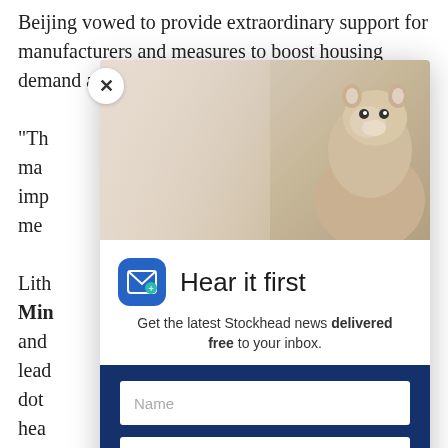Beijing vowed to provide extraordinary support for manufacturers and measures to boost housing demand as p
“Th... ma... imp... me...
Lith... OZ Min... (C) and lead... s dot... ’s hea...
Yar... min... p belo... ng-
[Figure (screenshot): Email newsletter signup modal overlay with 'Hear it first' heading, mail icon, groundhog/marmot photo background, Name and Email input fields, and 'SIGN ME UP' button on dark blue background. A close (X) button appears in the top-left corner of the modal.]